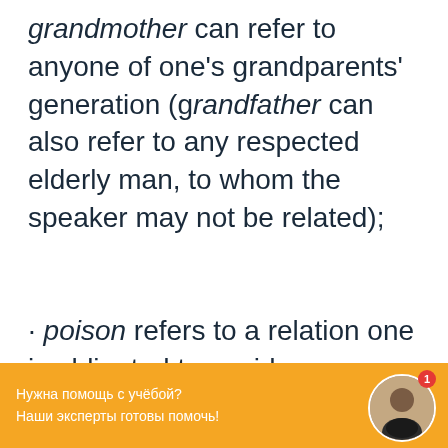grandmother can refer to anyone of one's grandparents' generation (grandfather can also refer to any respected elderly man, to whom the speaker may not be related);
· poison refers to a relation one is obligated to avoid;
[Figure (infographic): Orange chat widget bar at the bottom with Russian text 'Нужна помощь с учёбой? Наши эксперты готовы помочь!' and a circular avatar photo of a woman with a red notification badge showing 1.]